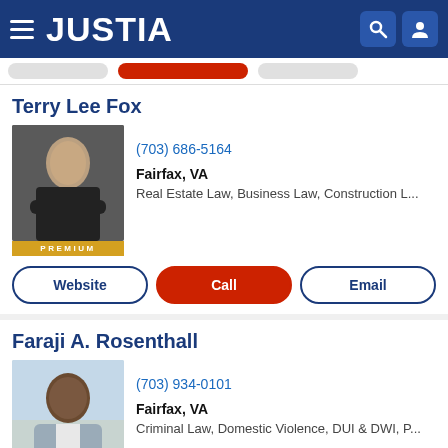[Figure (screenshot): Justia website header with logo, hamburger menu, search and user icons on dark blue background]
[Figure (photo): Profile photo of Terry Lee Fox, older man in dark suit with arms crossed, PREMIUM badge below]
Terry Lee Fox
(703) 686-5164
Fairfax, VA
Real Estate Law, Business Law, Construction L...
Website  Call  Email
[Figure (photo): Profile photo of Faraji A. Rosenthall, man in grey suit smiling, PREMIUM badge below]
Faraji A. Rosenthall
(703) 934-0101
Fairfax, VA
Criminal Law, Domestic Violence, DUI & DWI, P...